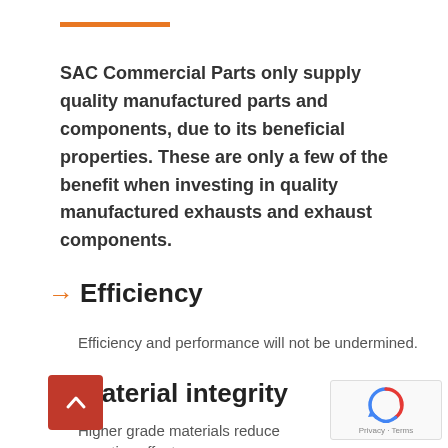SAC Commercial Parts only supply quality manufactured parts and components, due to its beneficial properties. These are only a few of the benefit when investing in quality manufactured exhausts and exhaust components.
→ Efficiency
Efficiency and performance will not be undermined.
→ Material integrity
Higher grade materials reduce negative effect